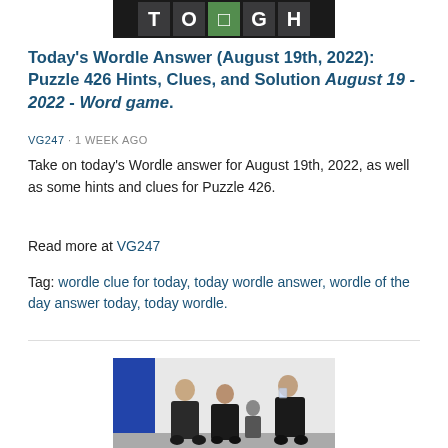[Figure (photo): Wordle game tiles showing letters on dark background]
Today's Wordle Answer (August 19th, 2022): Puzzle 426 Hints, Clues, and Solution August 19 - 2022 - Word game.
VG247 · 1 WEEK AGO
Take on today's Wordle answer for August 19th, 2022, as well as some hints and clues for Puzzle 426.
Read more at VG247
Tag: wordle clue for today, today wordle answer, wordle of the day answer today, today wordle.
[Figure (photo): People standing indoors, some holding drinks, against a white wall with a blue panel on the left]